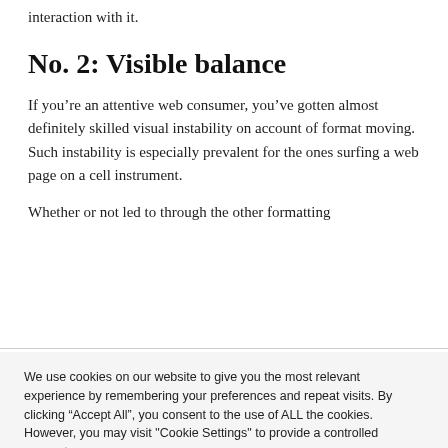interaction with it.
No. 2: Visible balance
If you’re an attentive web consumer, you’ve gotten almost definitely skilled visual instability on account of format moving.  Such instability is especially prevalent for the ones surfing a web page on a cell instrument.
Whether or not led to through the other formatting
We use cookies on our website to give you the most relevant experience by remembering your preferences and repeat visits. By clicking “Accept All”, you consent to the use of ALL the cookies. However, you may visit "Cookie Settings" to provide a controlled consent.
Cookie Settings | Accept All